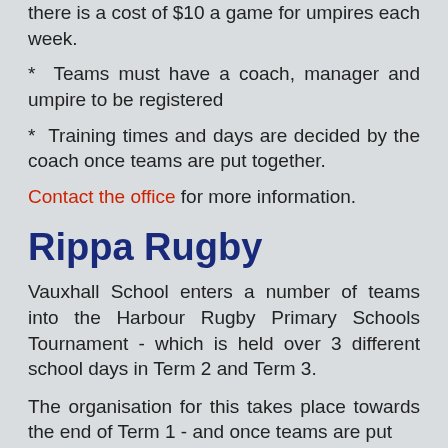* Teams must have a coach, manager and umpire to be registered
* Training times and days are decided by the coach once teams are put together.
Contact the office for more information.
Rippa Rugby
Vauxhall School enters a number of teams into the Harbour Rugby Primary Schools Tournament - which is held over 3 different school days in Term 2 and Term 3.
The organisation for this takes place towards the end of Term 1 - and once teams are put together...